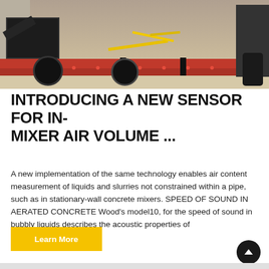[Figure (photo): Photograph of a red and black trailer-mounted concrete mixer/equipment in a warehouse or facility setting. The trailer has black hoppers on the left side, red frame, and large black wheels.]
INTRODUCING A NEW SENSOR FOR IN-MIXER AIR VOLUME ...
A new implementation of the same technology enables air content measurement of liquids and slurries not constrained within a pipe, such as in stationary-wall concrete mixers. SPEED OF SOUND IN AERATED CONCRETE Wood's model10, for the speed of sound in bubbly liquids describes the acoustic properties of
Learn More